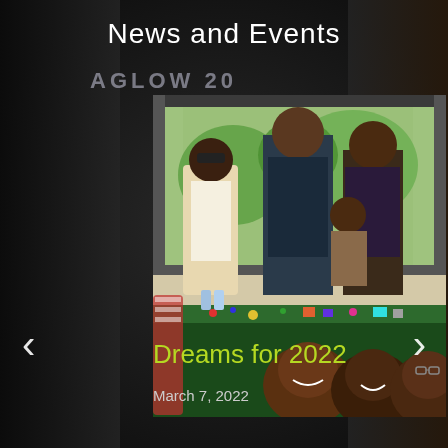News and Events
[Figure (photo): Photo of people standing behind a table at an Aglow International event. A banner reads 'AGLOW INTERNATIONAL - every nation touched, every heart changed.' Three adults and a child pose behind a table covered with small items and toys. The bottom portion of the image shows smiling faces from what appears to be another photo. The setting appears to be outdoors near a building with large windows.]
Dreams for 2022
March 7, 2022